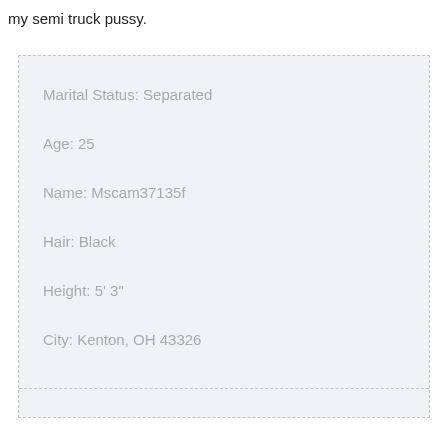my semi truck pussy.
Marital Status: Separated
Age: 25
Name: Mscam37135f
Hair: Black
Height: 5' 3"
City: Kenton, OH 43326